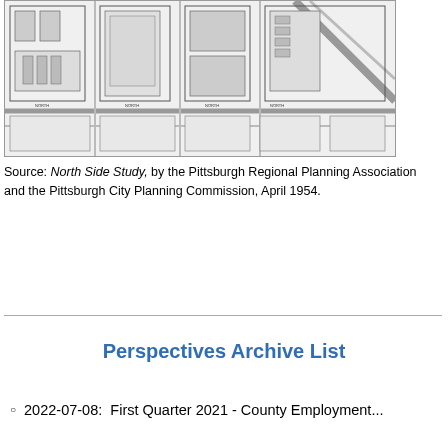[Figure (map): Architectural site plan / map showing a development layout for Pittsburgh's North Side area, with building footprints, streets, and landscaping elements shown in black and white line drawing style.]
Source: North Side Study, by the Pittsburgh Regional Planning Association and the Pittsburgh City Planning Commission, April 1954.
Perspectives Archive List
2022-07-08:  First Quarter 2021 - County Employment...